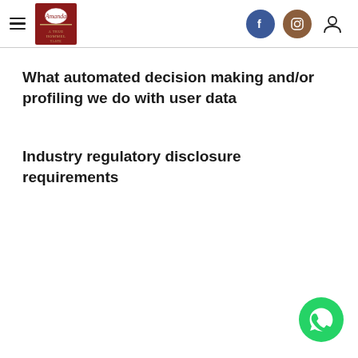Amanda – navigation header with logo, Facebook, Instagram, and user icons
What automated decision making and/or profiling we do with user data
Industry regulatory disclosure requirements
[Figure (logo): WhatsApp floating action button (green circle with phone handset icon) in bottom-right corner]